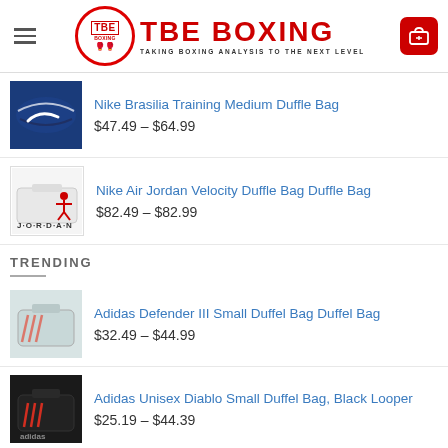[Figure (logo): TBE Boxing logo with hamburger menu and cart icon in header]
Nike Brasilia Training Medium Duffle Bag
$47.49 – $64.99
Nike Air Jordan Velocity Duffle Bag Duffle Bag
$82.49 – $82.99
TRENDING
Adidas Defender III Small Duffel Bag Duffel Bag
$32.49 – $44.99
Adidas Unisex Diablo Small Duffel Bag, Black Looper
$25.19 – $44.39